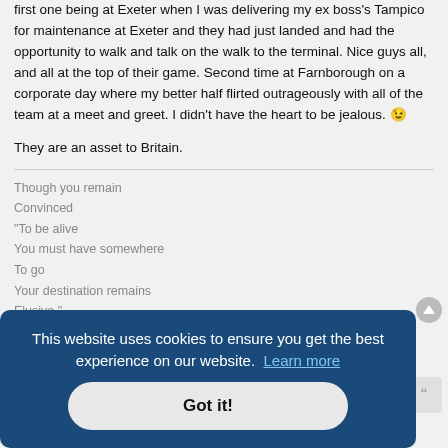first one being at Exeter when I was delivering my ex boss's Tampico for maintenance at Exeter and they had just landed and had the opportunity to walk and talk on the walk to the terminal. Nice guys all, and all at the top of their game. Second time at Farnborough on a corporate day where my better half flirted outrageously with all of the team at a meet and greet. I didn't have the heart to be jealous. 😉
They are an asset to Britain.
Though you remain
Convinced
"To be alive
You must have somewhere
To go
Your destination remains
Elusive."
This website uses cookies to ensure you get the best experience on our website. Learn more
Got it!
Re oh dear
I wouldn't go so far as to say that they can easily do a battleship cruise by is relatively easy (well not for me) but a full aerobatic display of